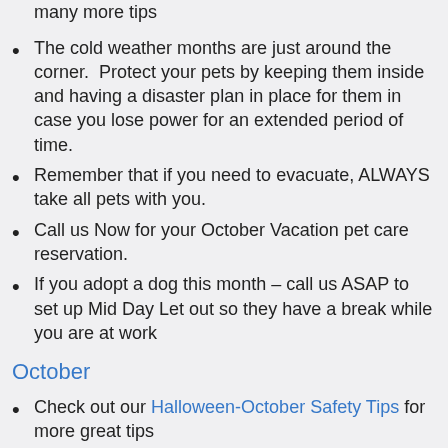many more tips
The cold weather months are just around the corner.  Protect your pets by keeping them inside and having a disaster plan in place for them in case you lose power for an extended period of time.
Remember that if you need to evacuate, ALWAYS take all pets with you.
Call us Now for your October Vacation pet care reservation.
If you adopt a dog this month – call us ASAP to set up Mid Day Let out so they have a break while you are at work
October
Check out our Halloween-October Safety Tips for more great tips
Adopt a Cat Month